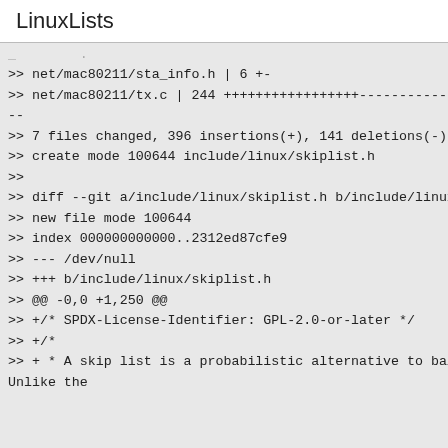LinuxLists
>> net/mac80211/sta_info.h | 6 +-
>> net/mac80211/tx.c | 244 +++++++++++++++++-----------------
--
>> 7 files changed, 396 insertions(+), 141 deletions(-)
>> create mode 100644 include/linux/skiplist.h
>>
>> diff --git a/include/linux/skiplist.h b/include/linux/skiplist.h
>> new file mode 100644
>> index 000000000000..2312ed87cfe9
>> --- /dev/null
>> +++ b/include/linux/skiplist.h
>> @@ -0,0 +1,250 @@
>> +/* SPDX-License-Identifier: GPL-2.0-or-later */
>> +/*
>> + * A skip list is a probabilistic alternative to balanced trees. Unlike the